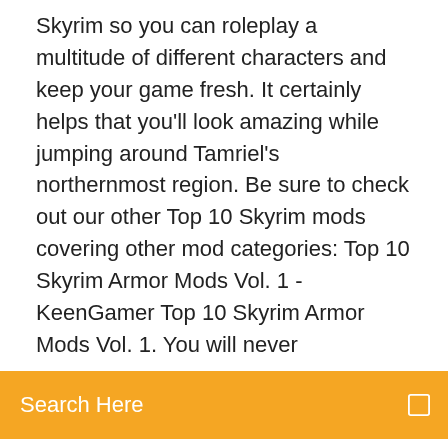Skyrim so you can roleplay a multitude of different characters and keep your game fresh. It certainly helps that you'll look amazing while jumping around Tamriel's northernmost region. Be sure to check out our other Top 10 Skyrim mods covering other mod categories: Top 10 Skyrim Armor Mods Vol. 1 - KeenGamer Top 10 Skyrim Armor Mods Vol. 1. You will never
Search Here
blow even the Special Edition out of the water. This time around we take a look at armor. Hrvoje Smoljic 2017-06-20 7 Comments 37 likes Articles, Guides. Introduction. To say that Skyrim is still relevant would be an Skyrim: The Top 10 Weapons & Armor Mods So Far ... RELATED: Skyrim: The Top 10 Graphics Mods So Far. We're wrapping up our series of the best Skyrim mods with this entry of the top weapon and armor mods you can install right now for your next playthrough. We've broken down the mods on this list based on the overall value they add to the game. As such, we're focusing less on mods that affect